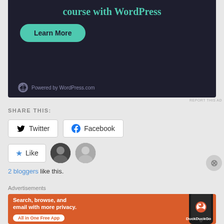[Figure (screenshot): WordPress.com advertisement banner with dark background showing 'course with WordPress' text in teal and a teal 'Learn More' button, with 'Powered by WordPress.com' at bottom]
REPORT THIS AD
SHARE THIS:
[Figure (screenshot): Twitter share button with bird icon]
[Figure (screenshot): Facebook share button with Facebook icon]
[Figure (screenshot): Like button with star icon and two blogger avatars]
2 bloggers like this.
Advertisements
[Figure (screenshot): DuckDuckGo advertisement banner with orange background showing 'Search, browse, and email with more privacy. All in One Free App' with phone mockup]